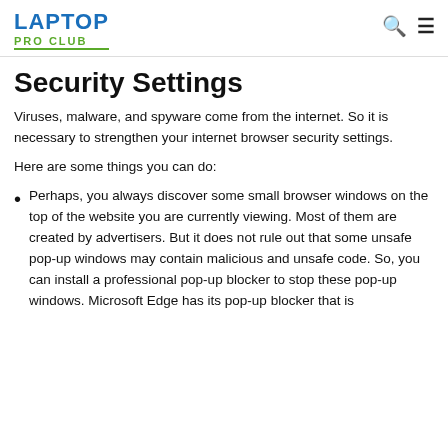LAPTOP PRO CLUB
Security Settings
Viruses, malware, and spyware come from the internet. So it is necessary to strengthen your internet browser security settings.
Here are some things you can do:
Perhaps, you always discover some small browser windows on the top of the website you are currently viewing. Most of them are created by advertisers. But it does not rule out that some unsafe pop-up windows may contain malicious and unsafe code. So, you can install a professional pop-up blocker to stop these pop-up windows. Microsoft Edge has its pop-up blocker that is